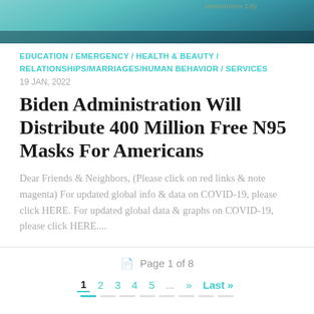[Figure (photo): Top portion of a news website showing a teal/turquoise image with people in scrubs or protective gear, partially cropped at the top of the page.]
EDUCATION / EMERGENCY / HEALTH & BEAUTY / RELATIONSHIPS/MARRIAGES/HUMAN BEHAVIOR / SERVICES
19 JAN, 2022
Biden Administration Will Distribute 400 Million Free N95 Masks For Americans
Dear Friends & Neighbors, (Please click on red links & note magenta) For updated global info & data on COVID-19, please click HERE. For updated global data & graphs on COVID-19, please click HERE....
Page 1 of 8
1  2  3  4  5  ...  »  Last »